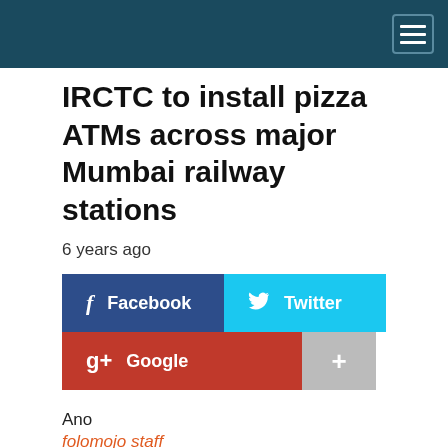IRCTC to install pizza ATMs across major Mumbai railway stations
6 years ago
[Figure (infographic): Social sharing buttons: Facebook (blue), Twitter (cyan), Google (red), and a grey plus button]
Ano
folomojo staff
There is some good news for all Mumbaikars who commute daily in the local trains. The Indian Railway Catering and Tourism Corporation has decided to install instant pizza vending machines at five of the